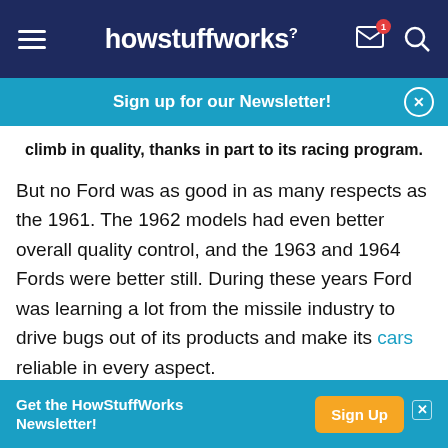howstuffworks
Sign up for our Newsletter!
climb in quality, thanks in part to its racing program.
But no Ford was as good in as many respects as the 1961. The 1962 models had even better overall quality control, and the 1963 and 1964 Fords were better still. During these years Ford was learning a lot from the missile industry to drive bugs out of its products and make its cars reliable in every aspect.
A second facet of Ford's quality control program was
Get the HowStuffWorks Newsletter! Sign Up